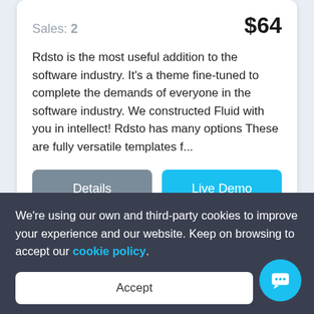Sales: 2
$64
Rdsto is the most useful addition to the software industry. It’s a theme fine-tuned to complete the demands of everyone in the software industry. We constructed Fluid with you in intellect! Rdsto has many options These are fully versatile templates f…
Details
Live Demo
Appin
We’re using our own and third-party cookies to improve your experience and our website. Keep on browsing to accept our cookie policy.
Accept